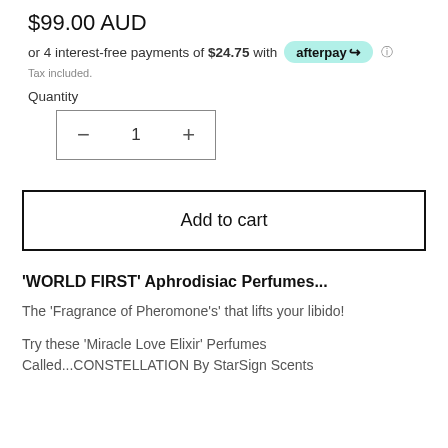$99.00 AUD
or 4 interest-free payments of $24.75 with afterpay ℹ
Tax included.
Quantity
− 1 +
Add to cart
'WORLD FIRST' Aphrodisiac Perfumes...
The 'Fragrance of Pheromone's' that lifts your libido!
Try these 'Miracle Love Elixir' Perfumes Called...CONSTELLATION By StarSign Scents